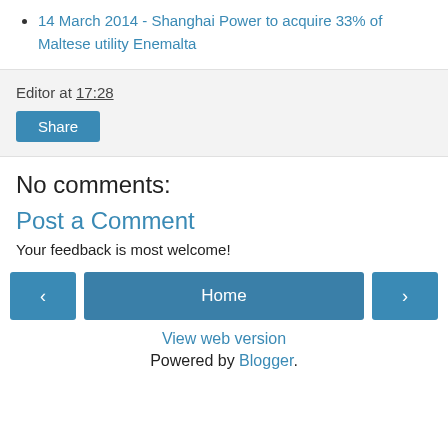14 March 2014 - Shanghai Power to acquire 33% of Maltese utility Enemalta
Editor at 17:28
Share
No comments:
Post a Comment
Your feedback is most welcome!
< Home >
View web version
Powered by Blogger.